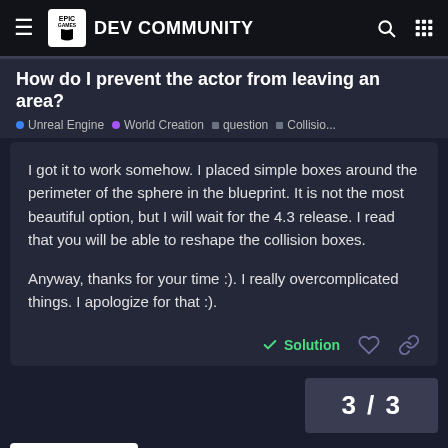EPIC GAMES DEV COMMUNITY
How do I prevent the actor from leaving an area?
Unreal Engine · World Creation · question · Collisio...
I got it to work somehow. I placed simple boxes around the perimeter of the sphere in the blueprint. It is not the most beautiful option, but I will wait for the 4.3 release. I read that you will be able to reshape the collision boxes.

Anyway, thanks for your time :). I really overcomplicated things. I apologize for that :).
✓ Solution
3 / 3
REPLY